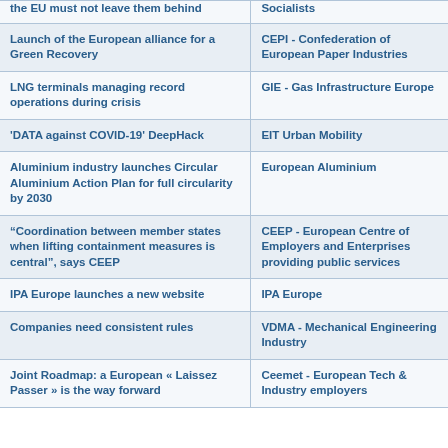| Event/Initiative | Organization |
| --- | --- |
| the EU must not leave them behind | Socialists |
| Launch of the European alliance for a Green Recovery | CEPI - Confederation of European Paper Industries |
| LNG terminals managing record operations during crisis | GIE - Gas Infrastructure Europe |
| 'DATA against COVID-19' DeepHack | EIT Urban Mobility |
| Aluminium industry launches Circular Aluminium Action Plan for full circularity by 2030 | European Aluminium |
| “Coordination between member states when lifting containment measures is central”, says CEEP | CEEP - European Centre of Employers and Enterprises providing public services |
| IPA Europe launches a new website | IPA Europe |
| Companies need consistent rules | VDMA - Mechanical Engineering Industry |
| Joint Roadmap: a European « Laissez Passer » is the way forward | Ceemet - European Tech & Industry employers |